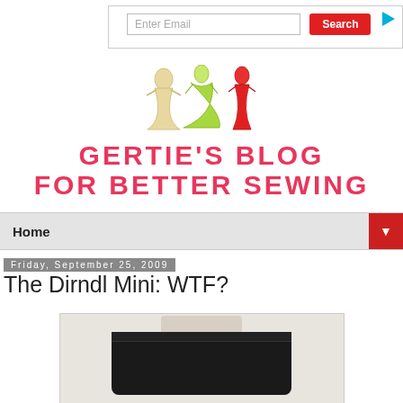[Figure (screenshot): Email input field with Search button and play icon — advertisement bar at top]
[Figure (logo): Gertie's Blog for Better Sewing logo with three illustrated dresses (cream, green, red) above the blog title text in pink/red letters]
Home
Friday, September 25, 2009
The Dirndl Mini: WTF?
[Figure (photo): Black dirndl mini skirt on a mannequin torso against a light grey background]